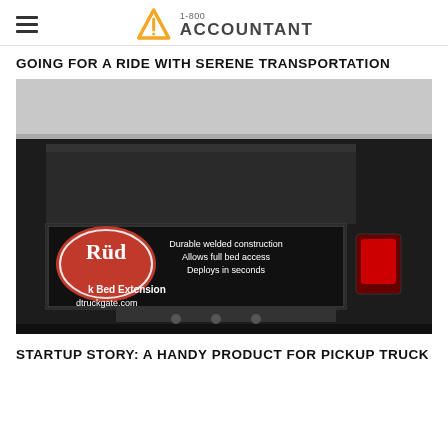1-800 ACCOUNTANT
GOING FOR A RIDE WITH SERENE TRANSPORTATION
[Figure (photo): Photo of a black pickup truck with a Rüd truck bed extension product installed at the rear. The product panel shows text: 'Durable welded construction / Allows full bed access / Deploys in seconds' and 'k Bed Extension / dtruckgate.com'. A red oval Rüd logo is visible on the left side of the panel.]
STARTUP STORY: A HANDY PRODUCT FOR PICKUP TRUCK